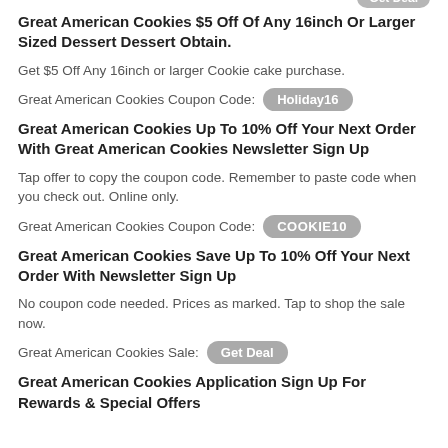Great American Cookies $5 Off Of Any 16inch Or Larger Sized Dessert Dessert Obtain.
Get $5 Off Any 16inch or larger Cookie cake purchase.
Great American Cookies Coupon Code: Holiday16
Great American Cookies Up To 10% Off Your Next Order With Great American Cookies Newsletter Sign Up
Tap offer to copy the coupon code. Remember to paste code when you check out. Online only.
Great American Cookies Coupon Code: COOKIE10
Great American Cookies Save Up To 10% Off Your Next Order With Newsletter Sign Up
No coupon code needed. Prices as marked. Tap to shop the sale now.
Great American Cookies Sale: Get Deal
Great American Cookies Application Sign Up For Rewards & Special Offers